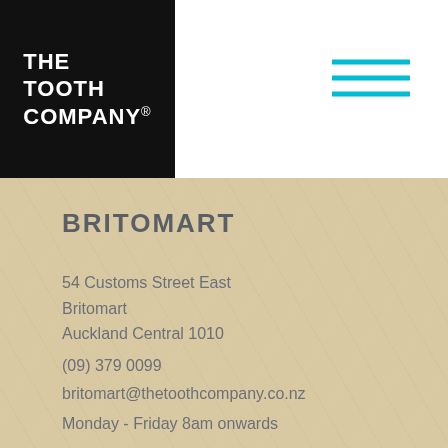[Figure (logo): The Tooth Company logo — white text on black background reading THE TOOTH COMPANY with registered trademark symbol]
[Figure (other): Hamburger menu icon — three cyan/teal horizontal lines]
BRITOMART
54 Customs Street East
Britomart
Auckland Central 1010
(09) 379 0099
britomart@thetoothcompany.co.nz
Monday - Friday 8am onwards
Parking